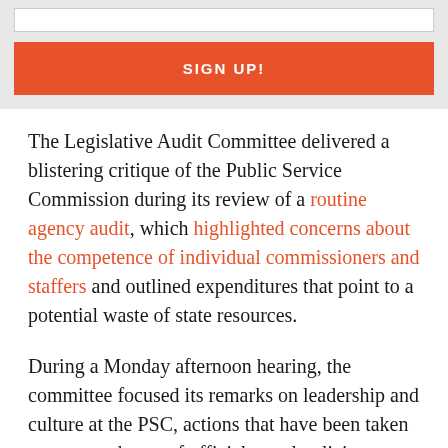[Figure (other): Sign up button section with input field and orange SIGN UP! button on grey background]
The Legislative Audit Committee delivered a blistering critique of the Public Service Commission during its review of a routine agency audit, which highlighted concerns about the competence of individual commissioners and staffers and outlined expenditures that point to a potential waste of state resources.
During a Monday afternoon hearing, the committee focused its remarks on leadership and culture at the PSC, actions that have been taken to correct abuses of official travel policies, fallout from